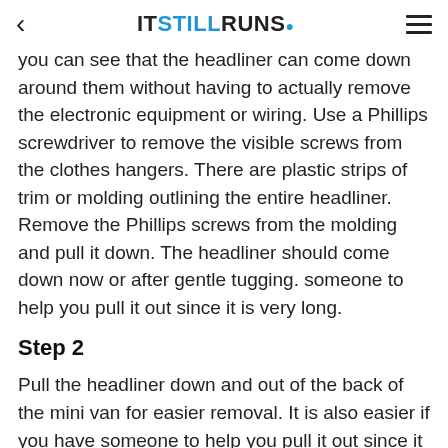< ITSTILLRUNS.
you can see that the headliner can come down around them without having to actually remove the electronic equipment or wiring. Use a Phillips screwdriver to remove the visible screws from the clothes hangers. There are plastic strips of trim or molding outlining the entire headliner. Remove the Phillips screws from the molding and pull it down. The headliner should come down now or after gentle tugging. someone to help you pull it out since it is very long.
Step 2
Pull the headliner down and out of the back of the mini van for easier removal. It is also easier if you have someone to help you pull it out since it is very